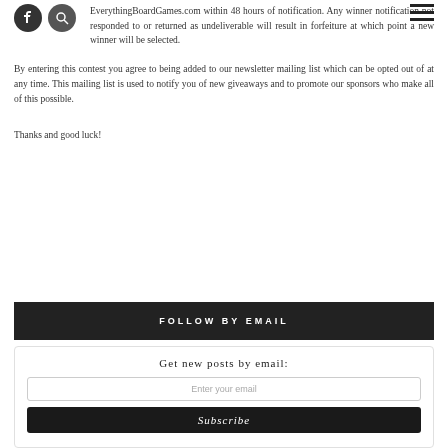EverythingBoardGames.com within 48 hours of notification. Any winner notification not responded to or returned as undeliverable will result in forfeiture at which point a new winner will be selected.
By entering this contest you agree to being added to our newsletter mailing list which can be opted out of at any time. This mailing list is used to notify you of new giveaways and to promote our sponsors who make all of this possible.
Thanks and good luck!
FOLLOW BY EMAIL
Get new posts by email:
Enter your email
Subscribe